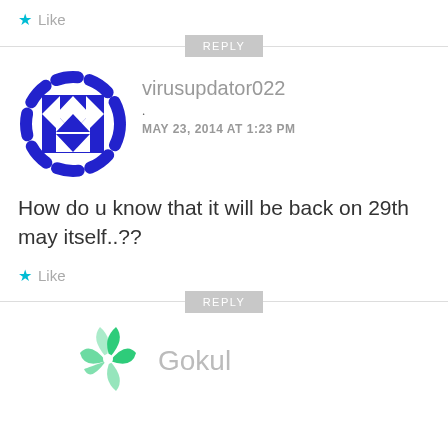★ Like
REPLY
[Figure (logo): Blue geometric avatar icon with dashed circular border and diamond/checkerboard pattern inside]
virusupdator022
.
MAY 23, 2014 AT 1:23 PM
How do u know that it will be back on 29th may itself..??
★ Like
REPLY
[Figure (logo): Green pinwheel/snowflake avatar icon]
Gokul